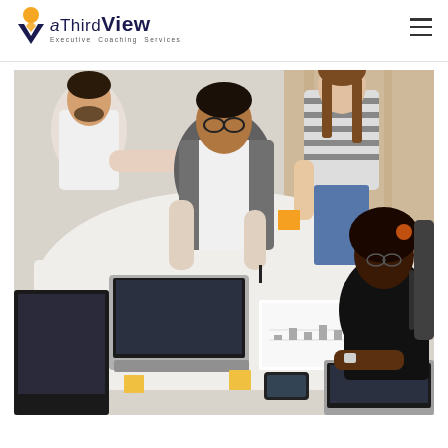aThirdView Executive Coaching Services
[Figure (photo): Aerial view of four business professionals collaborating around a desk with laptops, documents, and a monitor. Three people are standing/leaning over the desk while one sits. The desk has a laptop, papers on a clipboard, sticky notes, and a smartphone. Taken from above looking down.]